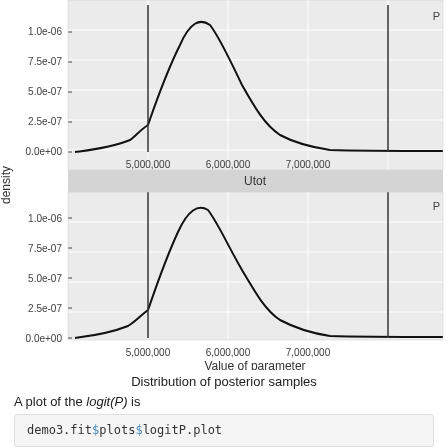[Figure (continuous-plot): Two density plots (ggplot2 faceted) showing posterior sample distributions. Top panel (partially visible) and bottom panel labeled 'Utot'. Both show bell-shaped density curves with vertical lines, x-axis labeled 'Value of parameter' ranging ~4,800,000 to 7,500,000+, y-axis labeled 'density' with values 0.0e+00 to 1.0e-06. Right edge shows label 'P'.]
Distribution of posterior samples
A plot of the logit(P) is
demo3.fit$plots$logitP.plot